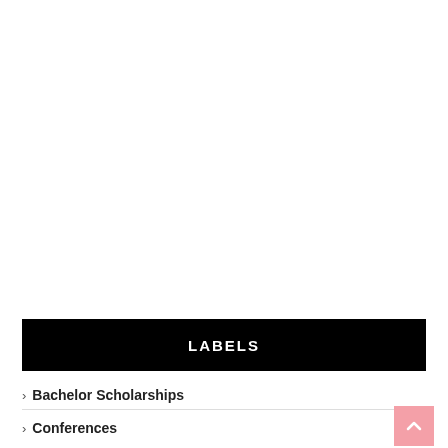LABELS
› Bachelor Scholarships
› Conferences